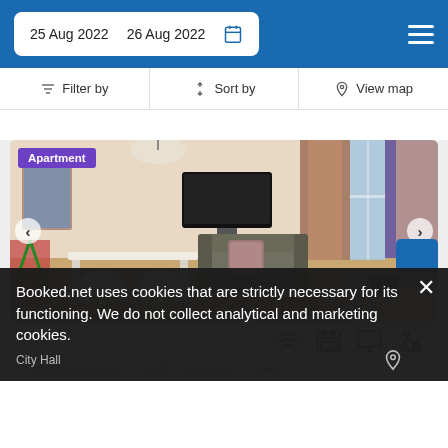25 Aug 2022   26 Aug 2022
Filter by   Sort by   View map
Apartment
[Figure (photo): Interior photo of an apartment showing a sofa, desk, chairs, wall-mounted TV, and windows with purple curtains and floral drapes.]
WiFi, stove/oven, TV, and no-smoking amenity icons
• The largest option • 2 adults • 1 bedroom • 1 bed
Booked.net uses cookies that are strictly necessary for its functioning. We do not collect analytical and marketing cookies.
City Hall